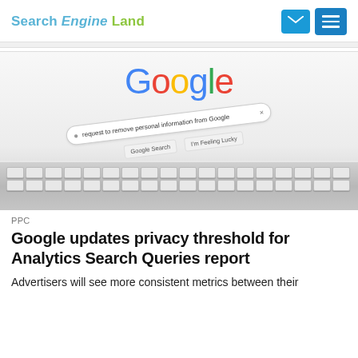Search Engine Land
[Figure (screenshot): Google search homepage screenshot showing the Google multicolor logo, a search bar with the query 'request to remove personal information from Google', Google Search and I'm Feeling Lucky buttons, and a laptop keyboard visible at the bottom.]
PPC
Google updates privacy threshold for Analytics Search Queries report
Advertisers will see more consistent metrics between their